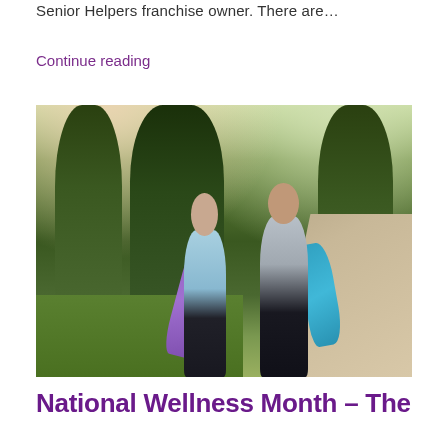Senior Helpers franchise owner. There are…
Continue reading
[Figure (photo): Two senior women walking outdoors on a path surrounded by trees, each carrying a rolled yoga mat — one purple, one blue. They are smiling and appear to be enjoying a walk together.]
National Wellness Month – The